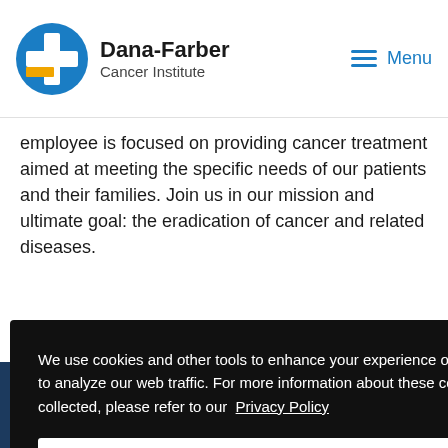Dana-Farber Cancer Institute
employee is focused on providing cancer treatment aimed at meeting the specific needs of our patients and their families. Join us in our mission and ultimate goal: the eradication of cancer and related diseases.
We use cookies and other tools to enhance your experience on our website and to analyze our web traffic. For more information about these cookies and the data collected, please refer to our Privacy Policy
Close
Search Jobs Now